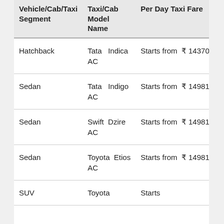| Vehicle/Cab/Taxi Segment | Taxi/Cab Model Name | Per Day Taxi Fare |
| --- | --- | --- |
| Hatchback | Tata Indica AC | Starts from ₹ 14370 |
| Sedan | Tata Indigo AC | Starts from ₹ 14981 |
| Sedan | Swift Dzire AC | Starts from ₹ 14981 |
| Sedan | Toyota Etios AC | Starts from ₹ 14981 |
| SUV | Toyota | Starts |